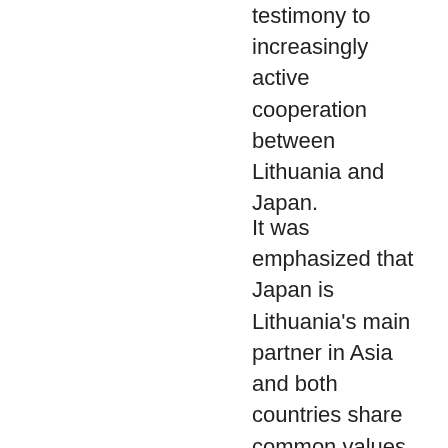testimony to increasingly active cooperation between Lithuania and Japan.
It was emphasized that Japan is Lithuania's main partner in Asia and both countries share common values and global challenges. Lithuania supported Japan's candidacy in the vote on the 2020 Summer Olympics, 2025 World Expo.
[Figure (photo): Group photo of officials standing in a formal room with Japanese and Lithuanian flags in the background.]